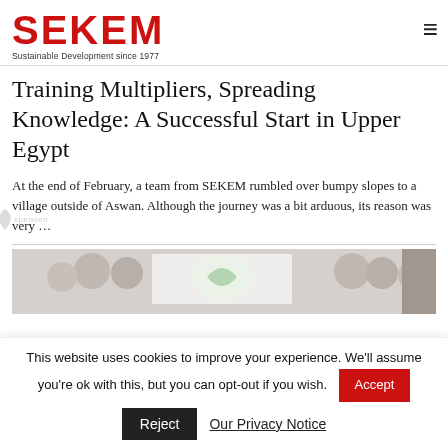SEKEM — Sustainable Development since 1977
Training Multipliers, Spreading Knowledge: A Successful Start in Upper Egypt
At the end of February, a team from SEKEM rumbled over bumpy slopes to a village outside of Aswan. Although the journey was a bit arduous, its reason was very …
[Figure (photo): Group photo of people at a SEKEM event in Upper Egypt]
This website uses cookies to improve your experience. We'll assume you're ok with this, but you can opt-out if you wish.